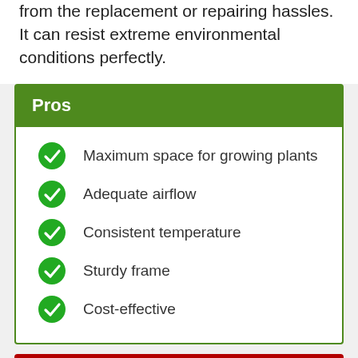from the replacement or repairing hassles. It can resist extreme environmental conditions perfectly.
Pros
Maximum space for growing plants
Adequate airflow
Consistent temperature
Sturdy frame
Cost-effective
Cons